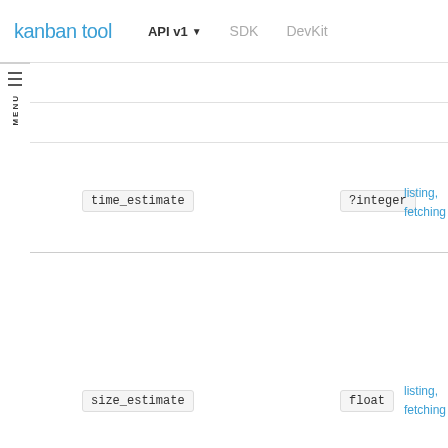kanban tool  API v1 ▼  SDK  DevKit
MENU
time_estimate  ?integer  listing, fetching
size_estimate  float  listing, fetching